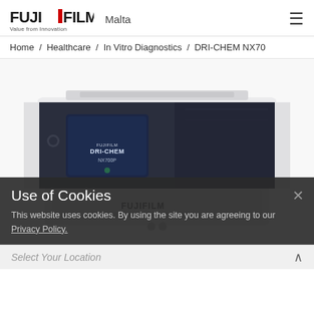[Figure (logo): FUJIFILM logo with 'Value from Innovation' tagline]
Malta
Home / Healthcare / In Vitro Diagnostics / DRI-CHEM NX70
[Figure (photo): FUJIFILM DRI-CHEM NX70 medical analyzer device - white and dark gray/navy unit with touchscreen display and FUJIFILM branding]
Use of Cookies
This website uses cookies. By using the site you are agreeing to our Privacy Policy.
Select Your Location